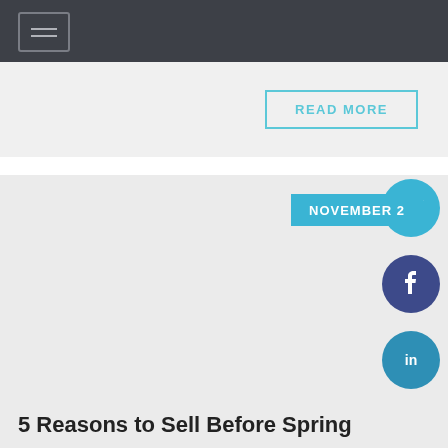Navigation menu
READ MORE
NOVEMBER 2
5 Reasons to Sell Before Spring